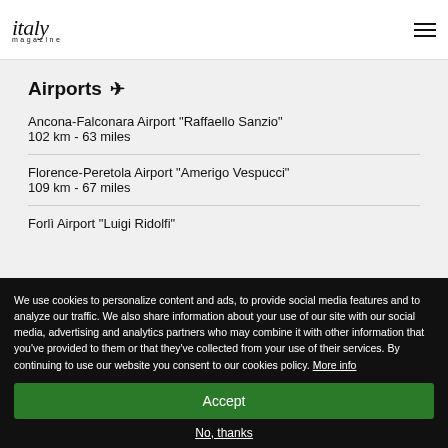italy magazine
Airports ✈
Ancona-Falconara Airport "Raffaello Sanzio"
102 km - 63 miles
Florence-Peretola Airport "Amerigo Vespucci"
109 km - 67 miles
Forlì Airport "Luigi Ridolfi"
We use cookies to personalize content and ads, to provide social media features and to analyze our traffic. We also share information about your use of our site with our social media, advertising and analytics partners who may combine it with other information that you've provided to them or that they've collected from your use of their services. By continuing to use our website you consent to our cookies policy. More info
Accept
No, thanks